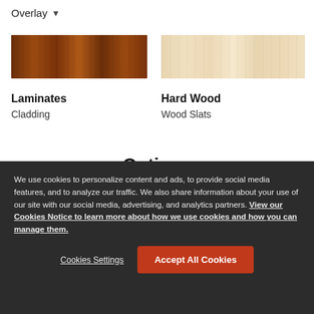Overlay ▾
[Figure (photo): Dark brown wood grain laminate strip on left]
[Figure (photo): Light beige/blonde hard wood grain strip on right]
Laminates
Cladding
Hard Wood
Wood Slats
Options
We use cookies to personalize content and ads, to provide social media features, and to analyze our traffic. We also share information about your use of our site with our social media, advertising, and analytics partners. View our Cookies Notice to learn more about how we use cookies and how you can manage them.
Cookies Settings
Accept All Cookies